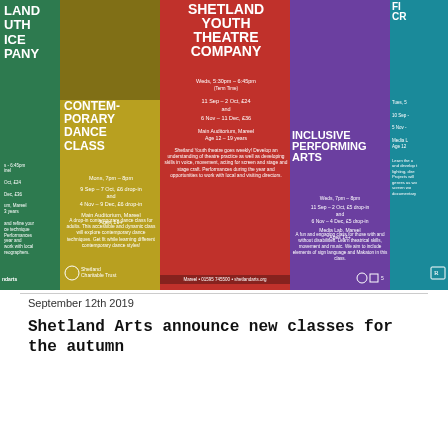[Figure (photo): Promotional banner image showing multiple colored panels for Shetland Arts classes: green panel (partially visible youth dance company), yellow/olive panel (Contemporary Dance Class), red panel (Shetland Youth Theatre Company), purple panel (Inclusive Performing Arts), and teal panel (partially visible Film/Creative class). Each panel contains class details, times, dates, and venues at Mareel.]
September 12th 2019
Shetland Arts announce new classes for the autumn